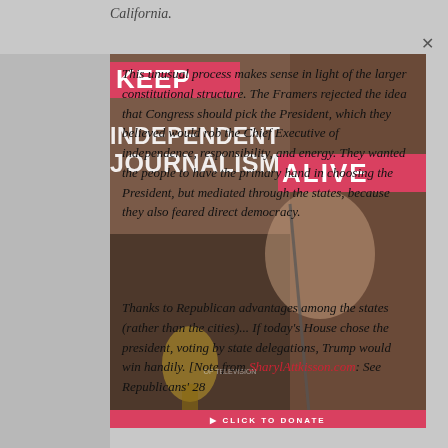California.
[Figure (photo): Photo of a woman (Sharyl Attkisson) speaking at a podium with an Emmy award, overlaid with 'KEEP INDEPENDENT JOURNALISM ALIVE' promotional text on pink/red banners]
This unusual process makes sense in light of the larger constitutional structure. The Framers rejected the idea that Congress should pick the President, which they believed would rob the Chief Executive of independence, responsibility, and energy. They wanted the people to have the primary hand in choosing the President, but mediated through the states, because they also feared direct democracy.
Thanks to Republican advantages among the states (rather than the cities)... If today's House chose the president, voting by state delegations, Trump would win handily. [Note from SharylAttkisson.com: See Republicans' 28